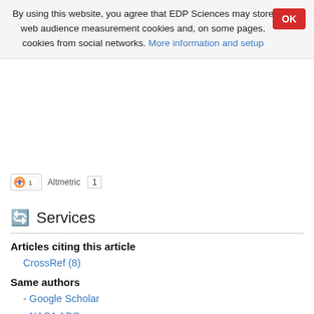By using this website, you agree that EDP Sciences may store web audience measurement cookies and, on some pages, cookies from social networks. More information and setup
[Figure (other): Altmetric badge with score indicator showing '1']
Services
Articles citing this article
CrossRef (8)
Same authors
- Google Scholar
- NASA ADS
- EDP Sciences database
Recommend this article
Send to my Kindle
Download citation